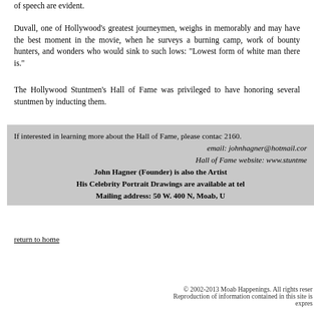of speech are evident.
Duvall, one of Hollywood's greatest journeymen, weighs in memorably and may have the best moment in the movie, when he surveys a burning camp, work of bounty hunters, and wonders who would sink to such lows: "Lowest form of white man there is."
The Hollywood Stuntmen's Hall of Fame was privileged to have honoring several stuntmen by inducting them.
If interested in learning more about the Hall of Fame, please contact 2160.
email: johnhagner@hotmail.com
Hall of Fame website: www.stuntme
John Hagner (Founder) is also the Artist
His Celebrity Portrait Drawings are available at tel
Mailing address: 50 W. 400 N, Moab, U
Say you saw this article in Moab Hap
return to home
© 2002-2013 Moab Happenings. All rights reserved.
Reproduction of information contained in this site is expressly